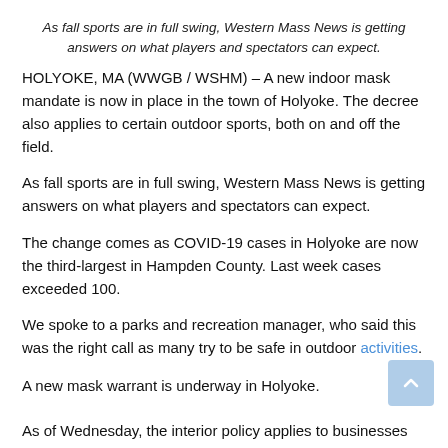As fall sports are in full swing, Western Mass News is getting answers on what players and spectators can expect.
HOLYOKE, MA (WWGB / WSHM) – A new indoor mask mandate is now in place in the town of Holyoke. The decree also applies to certain outdoor sports, both on and off the field.
As fall sports are in full swing, Western Mass News is getting answers on what players and spectators can expect.
The change comes as COVID-19 cases in Holyoke are now the third-largest in Hampden County. Last week cases exceeded 100.
We spoke to a parks and recreation manager, who said this was the right call as many try to be safe in outdoor activities.
A new mask warrant is underway in Holyoke.
As of Wednesday, the interior policy applies to businesses such